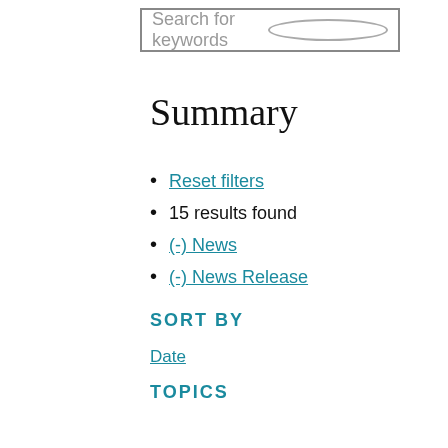Search for keywords
Summary
Reset filters
15 results found
(-) News
(-) News Release
SORT BY
Date
TOPICS